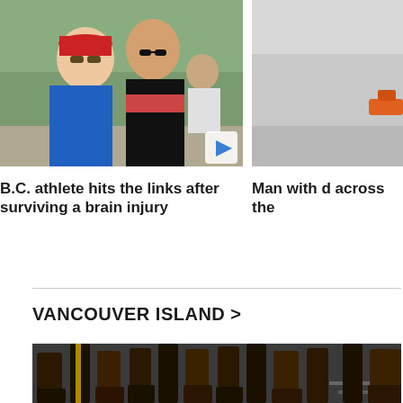[Figure (photo): Two men smiling outdoors, one wearing a red cap and blue shirt, the other in a striped polo shirt with sunglasses. A blue play button icon is overlaid in the bottom right corner.]
B.C. athlete hits the links after surviving a brain injury
[Figure (photo): Partial view of a vehicle or object, partially cropped on the right side of the page.]
Man with d across the
VANCOUVER ISLAND >
[Figure (photo): Close-up of boots worn by a row of people standing in a line, including RCMP-style riding boots and brown leather boots, with pavement visible.]